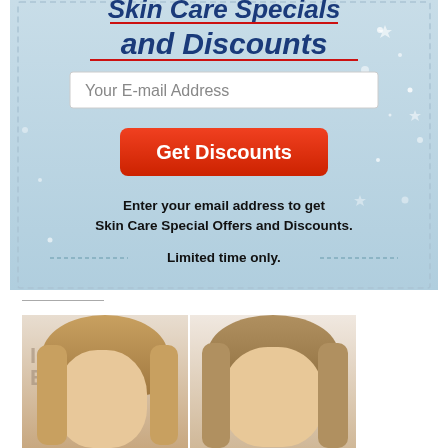[Figure (infographic): Skin Care Specials and Discounts promotional banner with light blue sparkle background, email input field, red 'Get Discounts' button, and promotional text. Dashed border around the main content area.]
[Figure (photo): Side-by-side photos of two women with medium-length hair, partially cropped. Left photo has lighter background with 'IG' and 'EV' text visible. Right photo has a lighter background.]